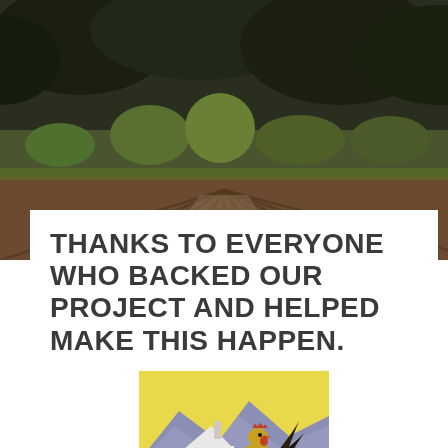[Figure (photo): Outdoor landscape photo of a ploughed agricultural field with rows of dark brown soil, green shrubs and trees in the middle ground, and a dense dark forest canopy in the background.]
THANKS TO EVERYONE WHO BACKED OUR PROJECT AND HELPED MAKE THIS HAPPEN.
[Figure (illustration): Stylized print illustration on a yellow background showing a white cottage or farmhouse with a large decorative rooster or bird figure beside it, purple-grey mountains in the background, and dark textured ground in the foreground.]